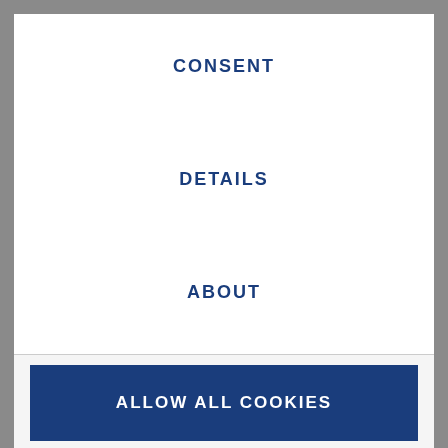CONSENT
DETAILS
ABOUT
ALLOW ALL COOKIES
CUSTOMIZE